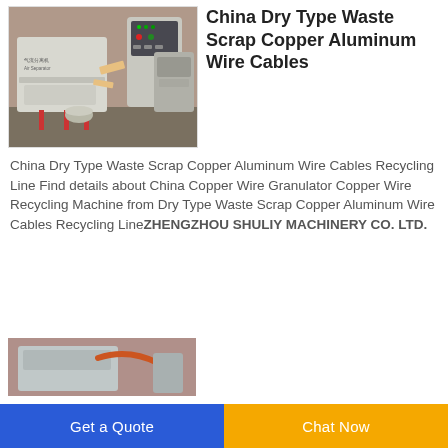[Figure (photo): Industrial dry type waste scrap copper aluminum wire cables recycling machine with air separator unit, control panel, and associated equipment in a factory setting]
China Dry Type Waste Scrap Copper Aluminum Wire Cables
China Dry Type Waste Scrap Copper Aluminum Wire Cables Recycling Line Find details about China Copper Wire Granulator Copper Wire Recycling Machine from Dry Type Waste Scrap Copper Aluminum Wire Cables Recycling LineZHENGZHOU SHULIY MACHINERY CO. LTD.
[Figure (photo): Partial view of recycling machinery equipment]
Get a Quote
Chat Now